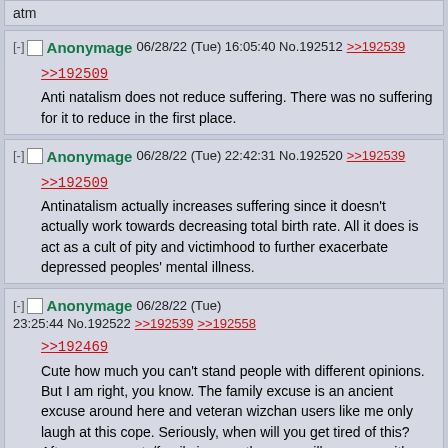atm
Anonymage 06/28/22 (Tue) 16:05:40 No.192512 >>192539
>>192509
Anti natalism does not reduce suffering. There was no suffering for it to reduce in the first place.
Anonymage 06/28/22 (Tue) 22:42:31 No.192520 >>192539
>>192509
Antinatalism actually increases suffering since it doesn't actually work towards decreasing total birth rate. All it does is act as a cult of pity and victimhood to further exacerbate depressed peoples' mental illness.
Anonymage 06/28/22 (Tue) 23:25:44 No.192522 >>192539 >>192558
>>192469
Cute how much you can't stand people with different opinions. But I am right, you know. The family excuse is an ancient excuse around here and veteran wizchan users like me only laugh at this cope. Seriously, when will you get tired of this? After your parents/family is gone then you will come up with another pathetic excuse why you don't kill yourself despite claiming that you desire death. "Oh the weather is bad today! Oh I can't find a rope around my house! Oh I can't get guns where I live! Oh I'm afraid of hell and